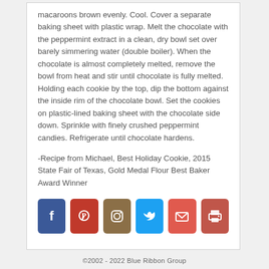macaroons brown evenly. Cool. Cover a separate baking sheet with plastic wrap. Melt the chocolate with the peppermint extract in a clean, dry bowl set over barely simmering water (double boiler). When the chocolate is almost completely melted, remove the bowl from heat and stir until chocolate is fully melted. Holding each cookie by the top, dip the bottom against the inside rim of the chocolate bowl. Set the cookies on plastic-lined baking sheet with the chocolate side down. Sprinkle with finely crushed peppermint candies. Refrigerate until chocolate hardens.
-Recipe from Michael, Best Holiday Cookie, 2015 State Fair of Texas, Gold Medal Flour Best Baker Award Winner
[Figure (infographic): Six social media / share icon buttons in a row: Facebook (blue), Pinterest (red), Instagram (brown), Twitter (cyan/blue), Email (red/orange envelope), Print (red/orange printer)]
©2002 - 2022 Blue Ribbon Group